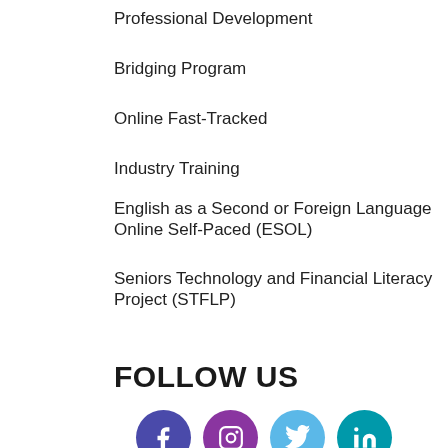Professional Development
Bridging Program
Online Fast-Tracked
Industry Training
English as a Second or Foreign Language Online Self-Paced (ESOL)
Seniors Technology and Financial Literacy Project (STFLP)
FOLLOW US
[Figure (illustration): Four social media icon circles: Facebook (dark purple), Instagram (purple), Twitter (light blue), LinkedIn (teal)]